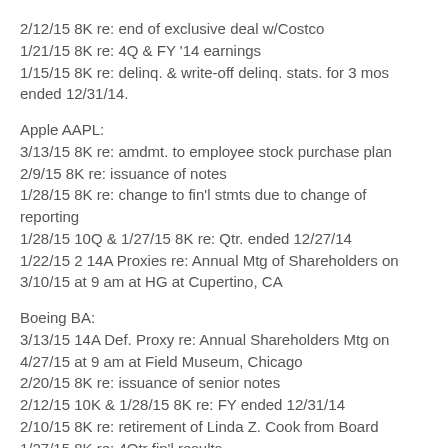2/12/15 8K re: end of exclusive deal w/Costco
1/21/15 8K re: 4Q & FY '14 earnings
1/15/15 8K re: delinq. & write-off delinq. stats. for 3 mos ended 12/31/14.
Apple AAPL:
3/13/15 8K re: amdmt. to employee stock purchase plan
2/9/15 8K re: issuance of notes
1/28/15 8K re: change to fin'l stmts due to change of reporting
1/28/15 10Q & 1/27/15 8K re: Qtr. ended 12/27/14
1/22/15 2 14A Proxies re: Annual Mtg of Shareholders on 3/10/15 at 9 am at HG at Cupertino, CA
Boeing BA:
3/13/15 14A Def. Proxy re: Annual Shareholders Mtg on 4/27/15 at 9 am at Field Museum, Chicago
2/20/15 8K re: issuance of senior notes
2/12/15 10K & 1/28/15 8K re: FY ended 12/31/14
2/10/15 8K re: retirement of Linda Z. Cook from Board
1/27/15 8K re: 4Qtr fin'l results